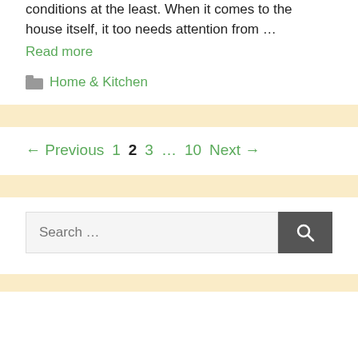conditions at the least. When it comes to the house itself, it too needs attention from ...
Read more
Home & Kitchen
← Previous 1 2 3 … 10 Next →
Search ...